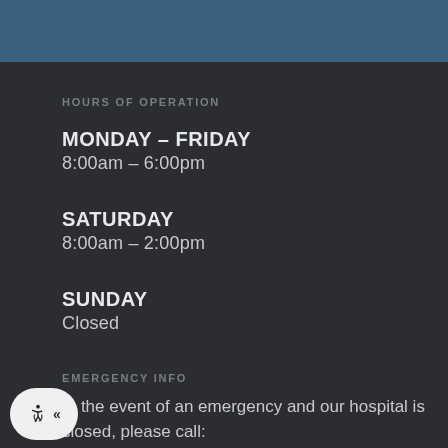HOURS OF OPERATION
MONDAY – FRIDAY
8:00am – 6:00pm
SATURDAY
8:00am – 2:00pm
SUNDAY
Closed
EMERGENCY INFO
In the event of an emergency and our hospital is closed, please call: